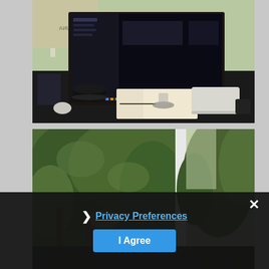[Figure (photo): A desk workspace with a large monitor displaying a dark-themed application (possibly music app), a Mac Mini or similar white device, a black bowl, notebook, mouse, and various desk accessories on a dark desk surface with a window in the background.]
[Figure (photo): An outdoor view through a window showing green trees and foliage, taken from what appears to be a porch or balcony. The image is partially obscured by a dark cookie consent overlay.]
❯ Privacy Preferences
I Agree